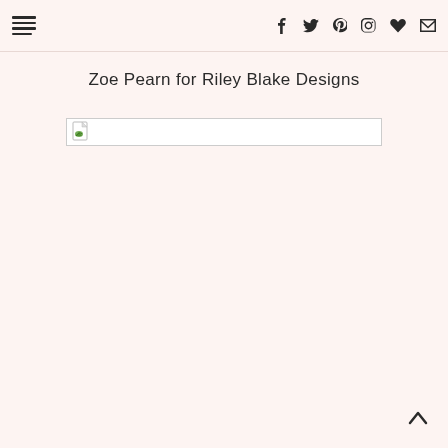Navigation bar with menu icon and social icons: Facebook, Twitter, Pinterest, Instagram, Heart/Favorites, Email
Zoe Pearn for Riley Blake Designs
[Figure (photo): Broken/missing image placeholder — a document icon with a green leaf, inside a wide rectangular border]
Back to top arrow